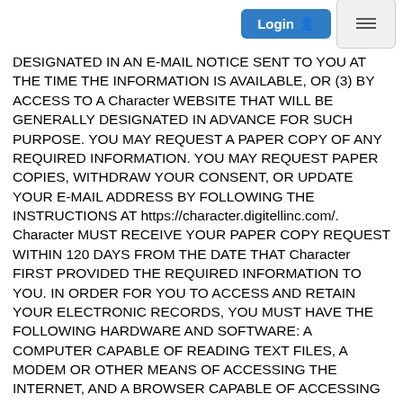Login  ☰
DESIGNATED IN AN E-MAIL NOTICE SENT TO YOU AT THE TIME THE INFORMATION IS AVAILABLE, OR (3) BY ACCESS TO A Character WEBSITE THAT WILL BE GENERALLY DESIGNATED IN ADVANCE FOR SUCH PURPOSE. YOU MAY REQUEST A PAPER COPY OF ANY REQUIRED INFORMATION. YOU MAY REQUEST PAPER COPIES, WITHDRAW YOUR CONSENT, OR UPDATE YOUR E-MAIL ADDRESS BY FOLLOWING THE INSTRUCTIONS AT https://character.digitellinc.com/. Character MUST RECEIVE YOUR PAPER COPY REQUEST WITHIN 120 DAYS FROM THE DATE THAT Character FIRST PROVIDED THE REQUIRED INFORMATION TO YOU. IN ORDER FOR YOU TO ACCESS AND RETAIN YOUR ELECTRONIC RECORDS, YOU MUST HAVE THE FOLLOWING HARDWARE AND SOFTWARE: A COMPUTER CAPABLE OF READING TEXT FILES, A MODEM OR OTHER MEANS OF ACCESSING THE INTERNET, AND A BROWSER CAPABLE OF ACCESSING AND DISPLAYING WEB PAGES. NOTWITHSTANDING YOUR CONSENT AS SET FORTH IN THIS SECTION, YOU MAY AT ANY TIME OBTAIN A PAPER COPY OF AN ELECTRONIC RECORD BY SENDING AN E-MAIL TO US AND PAYING A NOMINAL FEE PER COPY. YOUR CONSENT TO